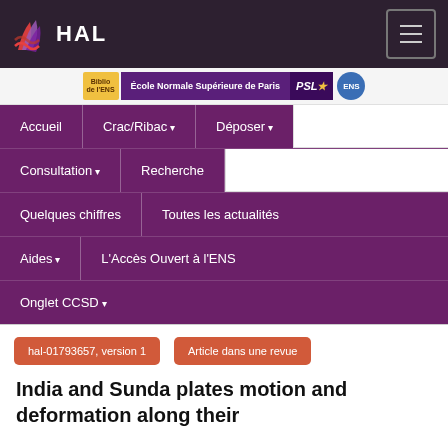HAL
[Figure (logo): HAL open archive logo with flame icon and HAL text in white on dark background, with hamburger menu icon on right]
[Figure (screenshot): École Normale Supérieure de Paris PSL banner/logo strip]
[Figure (screenshot): HAL portal navigation menu with purple background showing: Accueil, Crac/Ribac, Déposer, Consultation, Recherche, Quelques chiffres, Toutes les actualités, Aides, L'Accès Ouvert à l'ENS, Onglet CCSD]
hal-01793657, version 1
Article dans une revue
India and Sunda plates motion and deformation along their